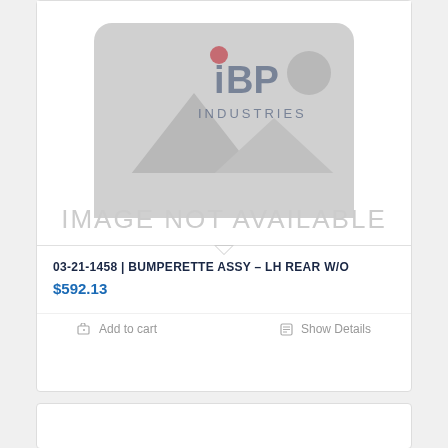[Figure (other): Product placeholder image with IBP Industries watermark logo (gray mountain/landscape silhouette with red circle and blue IBP INDUSTRIES text), and 'IMAGE NOT AVAILABLE' text overlay in light gray]
03-21-1458 | BUMPERETTE ASSY – LH REAR W/O
$592.13
Add to cart
Show Details